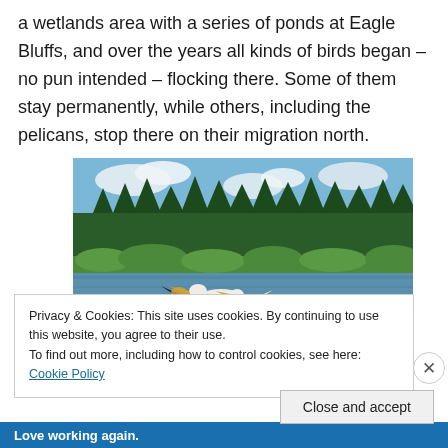a wetlands area with a series of ponds at Eagle Bluffs, and over the years all kinds of birds began – no pun intended – flocking there. Some of them stay permanently, while others, including the pelicans, stop there on their migration north.
[Figure (photo): Photograph of pelicans on a pond or lake, with one pelican spreading its wings. Dense green forest of tall pine trees visible in the background under a partly cloudy blue sky. Another white pelican is visible in the water to the right.]
Privacy & Cookies: This site uses cookies. By continuing to use this website, you agree to their use.
To find out more, including how to control cookies, see here: Cookie Policy
Close and accept
Love working again.